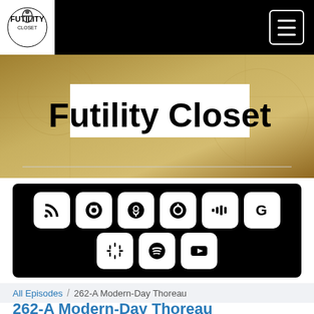Futility Closet
[Figure (screenshot): Futility Closet website banner with gold antique map background and white title box reading 'Futility Closet']
[Figure (screenshot): Black podcast player widget with service icons: RSS, Castbox, Podcasts, Castro, Stitcher, Google, Google Podcasts, Spotify, YouTube]
All Episodes / 262-A Modern-Day Thoreau
262-A Modern-Day Thoreau
FUTILITY CLOSET
262-A Modern-Day Thoreau